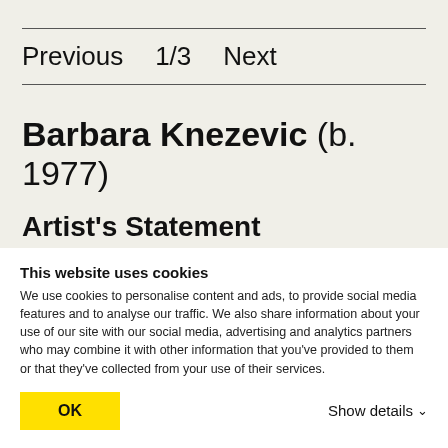Previous  1/3  Next
Barbara Knezevic (b. 1977)
Artist's Statement
Barbara Knezevic's work is
This website uses cookies
We use cookies to personalise content and ads, to provide social media features and to analyse our traffic. We also share information about your use of our site with our social media, advertising and analytics partners who may combine it with other information that you've provided to them or that they've collected from your use of their services.
OK
Show details